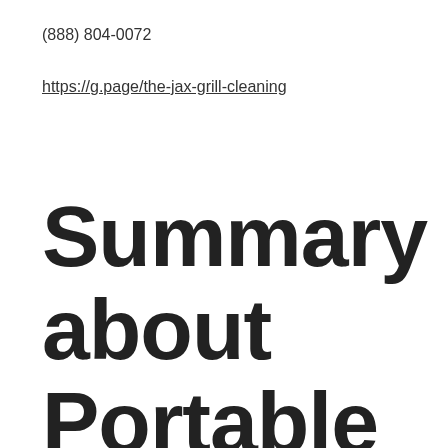(888) 804-0072
https://g.page/the-jax-grill-cleaning
Summary about Portable